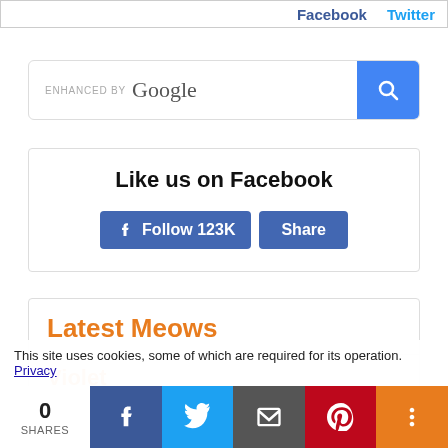[Figure (screenshot): Top bar snippet showing Facebook and Twitter links]
[Figure (screenshot): Enhanced by Google search bar with blue search button]
Like us on Facebook
[Figure (screenshot): Facebook Follow 123K and Share buttons]
Latest Meows
Violet
This site uses cookies, some of which are required for its operation. Privacy
[Figure (screenshot): Share bar with 0 SHARES, Facebook, Twitter, Email, Pinterest, More buttons]